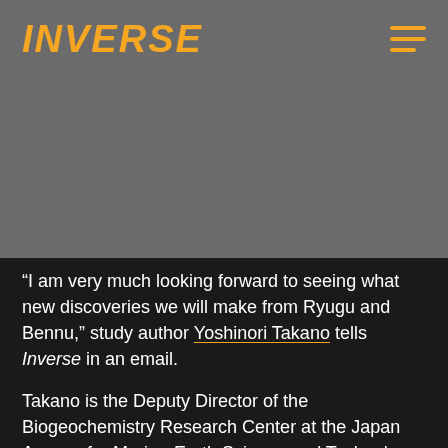INVERSE
“I am very much looking forward to seeing what new discoveries we will make from Ryugu and Bennu,” study author Yoshinori Takano tells Inverse in an email.
Takano is the Deputy Director of the Biogeochemistry Research Center at the Japan Agency for Marine-Earth Science and Technology. He’s collaborating on